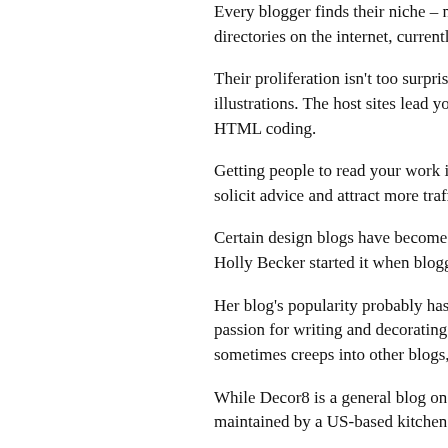Every blogger finds their niche – mine is there is quite possibly a blog for every inte directories on the internet, currently has 3
Their proliferation isn't too surprising, sinc Blogger, Typepad or WordPress, give you illustrations. The host sites lead you throu Some people progress to hosting their ow HTML coding.
Getting people to read your work is more to friends and colleagues, directories can solicit advice and attract more traffic to yo
Certain design blogs have become well-e blog that now has a worldwide audience Holly Becker started it when blogging was
Her blog's popularity probably has somet topics from the latest wallpaper designs a real passion for writing and decorating an have to suit you personally or else it's not which sometimes creeps into other blogs,
While Decor8 is a general blog on interior name suggests, all about chairs, while Th maintained by a US-based kitchen design
Another successful concept is Decorbyco collection of blogs categorised into colour including one dedicated to all things pink and another labelled "Everything Turquois